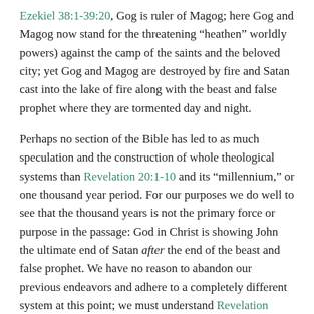Ezekiel 38:1-39:20, Gog is ruler of Magog; here Gog and Magog now stand for the threatening “heathen” worldly powers) against the camp of the saints and the beloved city; yet Gog and Magog are destroyed by fire and Satan cast into the lake of fire along with the beast and false prophet where they are tormented day and night.
Perhaps no section of the Bible has led to as much speculation and the construction of whole theological systems than Revelation 20:1-10 and its “millennium,” or one thousand year period. For our purposes we do well to see that the thousand years is not the primary force or purpose in the passage: God in Christ is showing John the ultimate end of Satan after the end of the beast and false prophet. We have no reason to abandon our previous endeavors and adhere to a completely different system at this point; we must understand Revelation 20:1-10 in terms of the rest of Revelation and the New Testament, and not the other way around. Throughout Scripture, a “thousand” never means an actual, literal one thousand, but refers to an indeterminate multitude of things or length of time (Deuteronomy 7:9, Joshua 23:10, 1 Chronicles 16:15, Job 9:3, 33:23, Psalms 50:10, 90:4, 105:8, Ecclesiastes 6:6, 7:28, 2 Peter 3:8).